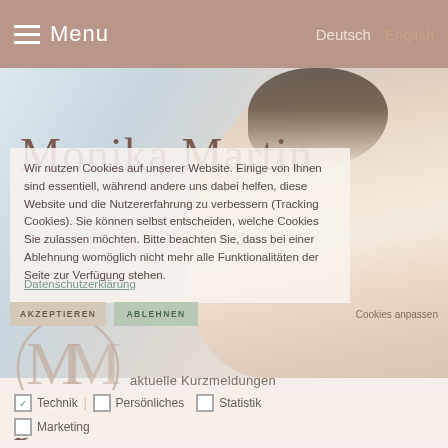Menu   Deutsch  English
[Figure (photo): Website screenshot of Monika Martin personal website showing a woman's portrait photo overlaid with a cookie consent dialog. The woman has short dark hair and wears a light pink blazer. A large 'MM' monogram circle logo is visible in the lower left.]
Monika Martin
Wir nutzen Cookies auf unserer Website. Einige von ihnen sind essentiell, während andere uns dabei helfen, diese Website und die Nutzererfahrung zu verbessern (Tracking Cookies). Sie können selbst entscheiden, welche Cookies Sie zulassen möchten. Bitte beachten Sie, dass bei einer Ablehnung womöglich nicht mehr alle Funktionalitäten der Seite zur Verfügung stehen.
Datenschutzerklärung
AKZEPTIEREN
ABLEHNEN
Cookies anpassen
aktuelle Kurzmeldungen
✓ Technik  |  Persönliches  Statistik
Marketing